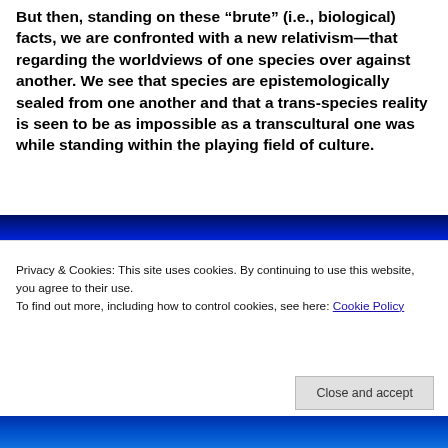But then, standing on these “brute” (i.e., biological) facts, we are confronted with a new relativism—that regarding the worldviews of one species over against another. We see that species are epistemologically sealed from one another and that a trans-species reality is seen to be as impossible as a transcultural one was while standing within the playing field of culture.
[Figure (photo): Dark blue gradient image, appears to be a website header or banner with a deep blue background.]
Privacy & Cookies: This site uses cookies. By continuing to use this website, you agree to their use.
To find out more, including how to control cookies, see here: Cookie Policy
Close and accept